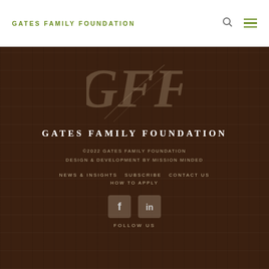GATES FAMILY FOUNDATION
[Figure (logo): GFF monogram script logo in faded gray/tan on dark wood background]
GATES FAMILY FOUNDATION
©2022 GATES FAMILY FOUNDATION
DESIGN & DEVELOPMENT BY MISSION MINDED
NEWS & INSIGHTS  SUBSCRIBE  CONTACT US
HOW TO APPLY
[Figure (illustration): Facebook and LinkedIn social media icons side by side]
FOLLOW US